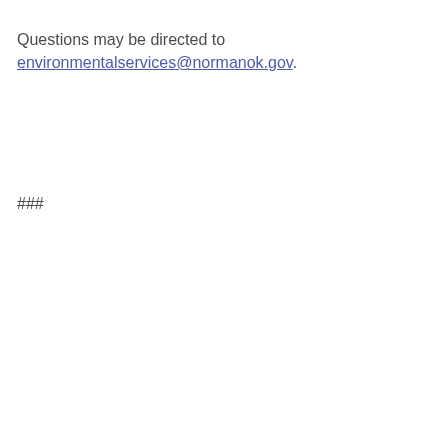Questions may be directed to environmentalservices@normanok.gov.
###